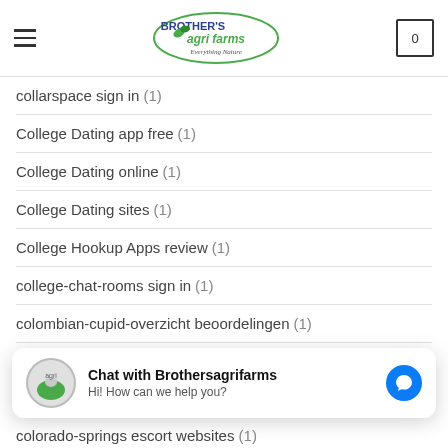Brother's Agri Farms — Everything Nature
collarspace sign in (1)
College Dating app free (1)
College Dating online (1)
College Dating sites (1)
College Hookup Apps review (1)
college-chat-rooms sign in (1)
colombian-cupid-overzicht beoordelingen (1)
Chat with Brothersagrifarms
Hi! How can we help you?
colorado-springs escort websites (1)